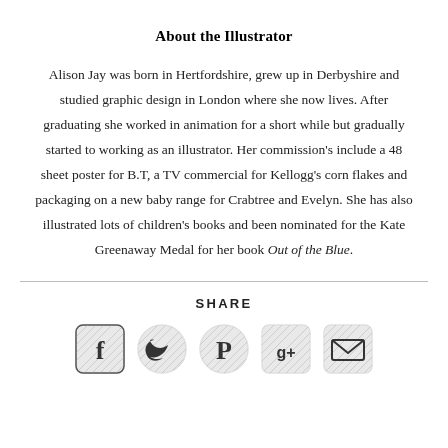About the Illustrator
Alison Jay was born in Hertfordshire, grew up in Derbyshire and studied graphic design in London where she now lives. After graduating she worked in animation for a short while but gradually started to working as an illustrator. Her commission's include a 48 sheet poster for B.T, a TV commercial for Kellogg's corn flakes and packaging on a new baby range for Crabtree and Evelyn. She has also illustrated lots of children's books and been nominated for the Kate Greenaway Medal for her book Out of the Blue.
SHARE
[Figure (infographic): Row of five social media share icons: Facebook, Twitter, Pinterest, Google+, and Email (envelope)]